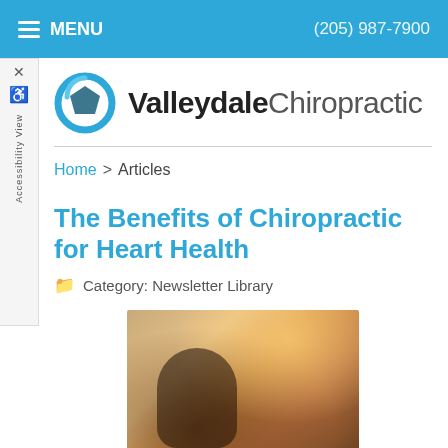≡ MENU   (205) 987-7900
[Figure (logo): Valleydale Chiropractic logo with teal/blue geometric icon and text]
Home > Articles
The Benefits of Chiropractic for Heart Health
Category: Newsletter Library
[Figure (photo): Person receiving chiropractic treatment, warm orange-toned photo]